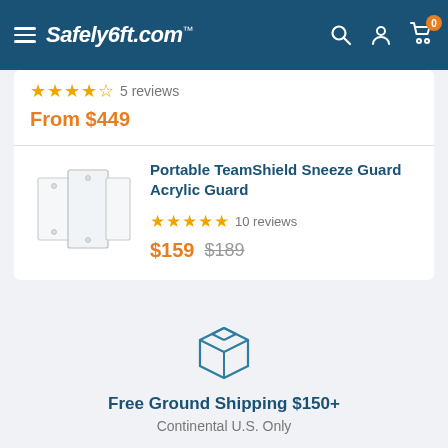Safely6ft.com™
★★★★★ 5 reviews
From $449
[Figure (photo): Product image of Portable TeamShield Sneeze Guard Acrylic Guard, showing white acrylic panels]
Portable TeamShield Sneeze Guard Acrylic Guard
★★★★★ 10 reviews
$159  $189
[Figure (illustration): Box/shipping package icon in teal/dark blue outline style]
Free Ground Shipping $150+
Continental U.S. Only